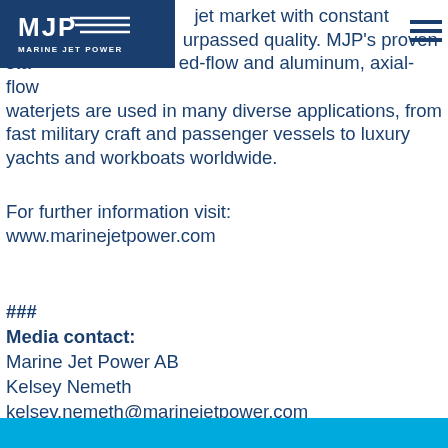[Figure (logo): Marine Jet Power (MJP) logo — blue background rectangle with white 'MJP' letters and 'MARINE JET POWER' text below]
red the waterjet market with constant innovation and unsurpassed quality. MJP's proven stainless steel, mixed-flow and aluminum, axial-flow waterjets are used in many diverse applications, from fast military craft and passenger vessels to luxury yachts and workboats worldwide.
For further information visit:
www.marinejetpower.com
###
Media contact:
Marine Jet Power AB
Kelsey Nemeth
kelsey.nemeth@marinejetpower.com
+1704.953.6821